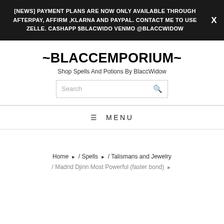[NEWS] PAYMENT PLANS ARE NOW ONLY AVAILABLE THROUGH AFTERPAY, AFFIRM ,KLARNA AND PAYPAL. CONTACT ME TO USE ZELLE. CASHAPP $BLACWIDO VENMO @BLACCWIDOW
~BLACCEMPORIUM~
Shop Spells And Potions By BlaccWidow
Search
MENU
Home / Spells / Talismans and Jewelry / Madrid Djinn Most Powerful (faster bond)